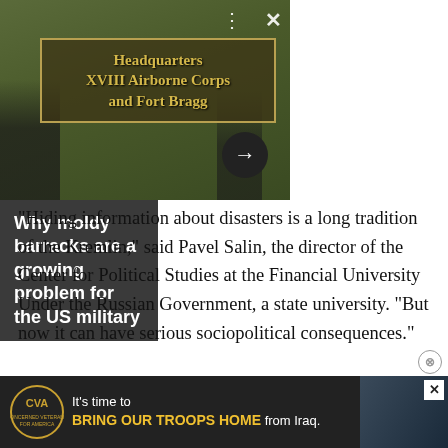[Figure (photo): Photo of soldiers with a sign reading 'Headquarters XVIII Airborne Corps and Fort Bragg' alongside a related article headline sidebar: 'Why moldy barracks are a growing problem for the US military']
“Hiding information about disasters is a long tradition of the Kremlin,” said Pavel Salin, the director of the Center for Political Studies at the Financial University Under the Russian Government, a state university. “But now it can have serious sociopolitical consequences.”
[Figure (photo): Advertisement banner for Concerned Veterans for America: 'It’s time to BRING OUR TROOPS HOME from Iraq.' with logo and military imagery]